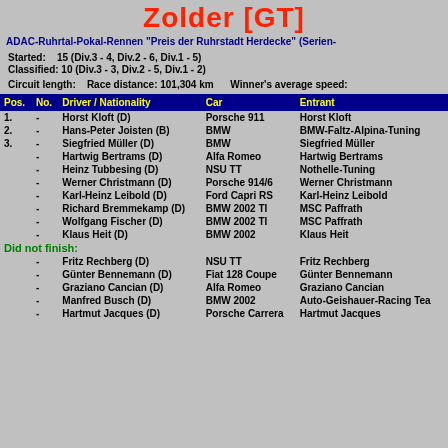Zolder [GT]
ADAC-Ruhrtal-Pokal-Rennen "Preis der Ruhrstadt Herdecke" (Serien-
Started: 15 (Div.3 - 4, Div.2 - 6, Div.1 - 5)
Classified: 10 (Div.3 - 3, Div.2 - 5, Div.1 - 2)
Circuit length:   Race distance: 101,304 km   Winner's average speed:
| Pos. | No. | Driver / Nationality | Car | Entrant |
| --- | --- | --- | --- | --- |
| 1. | - | Horst Kloft (D) | Porsche 911 | Horst Kloft |
| 2. | - | Hans-Peter Joisten (B) | BMW | BMW-Faltz-Alpina-Tuning |
| 3. | - | Siegfried Müller (D) | BMW | Siegfried Müller |
|  | - | Hartwig Bertrams (D) | Alfa Romeo | Hartwig Bertrams |
|  | - | Heinz Tubbesing (D) | NSU TT | Nothelle-Tuning |
|  | - | Werner Christmann (D) | Porsche 914/6 | Werner Christmann |
|  | - | Karl-Heinz Leibold (D) | Ford Capri RS | Karl-Heinz Leibold |
|  | - | Richard Bremmekamp (D) | BMW 2002 TI | MSC Paffrath |
|  | - | Wolfgang Fischer (D) | BMW 2002 TI | MSC Paffrath |
|  | - | Klaus Heit (D) | BMW 2002 | Klaus Heit |
| Did not finish: |  |  |  |  |
|  | - | Fritz Rechberg (D) | NSU TT | Fritz Rechberg |
|  | - | Günter Bennemann (D) | Fiat 128 Coupe | Günter Bennemann |
|  | - | Graziano Cancian (D) | Alfa Romeo | Graziano Cancian |
|  | - | Manfred Busch (D) | BMW 2002 | Auto-Geishauer-Racing Tea |
|  | - | Hartmut Jacques (D) | Porsche Carrera | Hartmut Jacques |